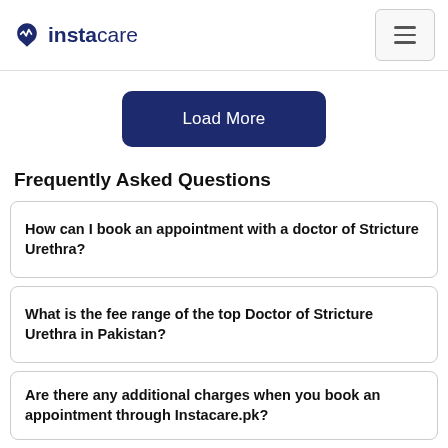instacare
Load More
Frequently Asked Questions
How can I book an appointment with a doctor of Stricture Urethra?
What is the fee range of the top Doctor of Stricture Urethra in Pakistan?
Are there any additional charges when you book an appointment through Instacare.pk?